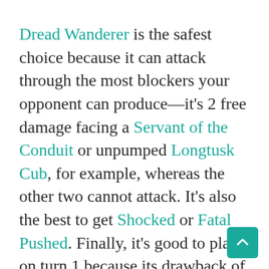Dread Wanderer is the safest choice because it can attack through the most blockers your opponent can produce—it's 2 free damage facing a Servant of the Conduit or unpumped Longtusk Cub, for example, whereas the other two cannot attack. It's also the best to get Shocked or Fatal Pushed. Finally, it's good to play it on turn 1 because its drawback of entering the battlefield tapped becomes irrelevant, whereas later on you might be unable to block or crew a Vehicle because of it. It is